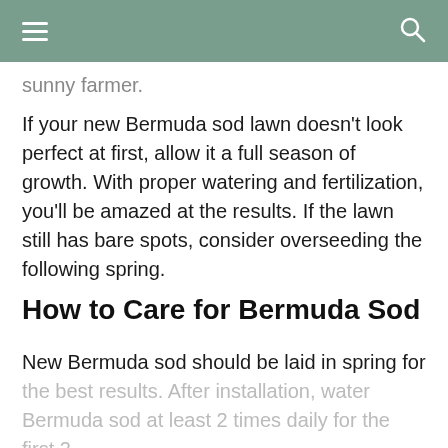sunny farmer.
If your new Bermuda sod lawn doesn't look perfect at first, allow it a full season of growth. With proper watering and fertilization, you'll be amazed at the results. If the lawn still has bare spots, consider overseeding the following spring.
How to Care for Bermuda Sod
New Bermuda sod should be laid in spring for the best results. After installation, water Bermuda sod at least 2 times daily for the first 2